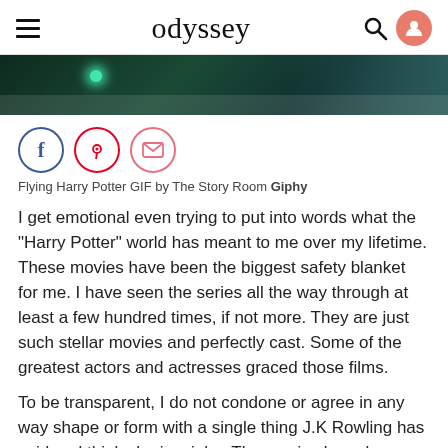odyssey
[Figure (photo): Dark atmospheric scene from Harry Potter, showing flying figure with blue-green glowing light against dark stormy background]
[Figure (infographic): Social sharing buttons: Facebook (blue circle), Pinterest (red circle), Email (pink circle)]
Flying Harry Potter GIF by The Story Room Giphy
I get emotional even trying to put into words what the "Harry Potter" world has meant to me over my lifetime. These movies have been the biggest safety blanket for me. I have seen the series all the way through at least a few hundred times, if not more. They are just such stellar movies and perfectly cast. Some of the greatest actors and actresses graced those films.
To be transparent, I do not condone or agree in any way shape or form with a single thing J.K Rowling has said and think she is a joke. The movies have been a part of my life since I was four, so I'll always love them and be